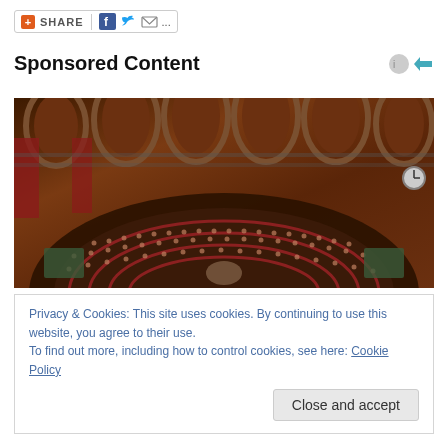+ SHARE  f  [twitter]  [mail]  ...
Sponsored Content
[Figure (photo): Interior of a grand legislative chamber (likely Italian Parliament) viewed from above, showing semicircular rows of seats filled with many people, ornate arched architecture with red curtains and wood paneling.]
Privacy & Cookies: This site uses cookies. By continuing to use this website, you agree to their use.
To find out more, including how to control cookies, see here: Cookie Policy
Close and accept